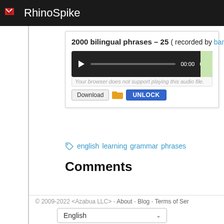RhinoSpike
2000 bilingual phrases – 25 ( recorded by bananaman ), B
[Figure (screenshot): Audio player showing 00:00 time with play button, progress bar, and volume icon. Text: 'Your browser does not support playing this audio file.']
Download   Unlock
english learning grammar phrases
Comments
© 2009-2022 <Azabua LLC> - About - Blog - Terms of Ser
English